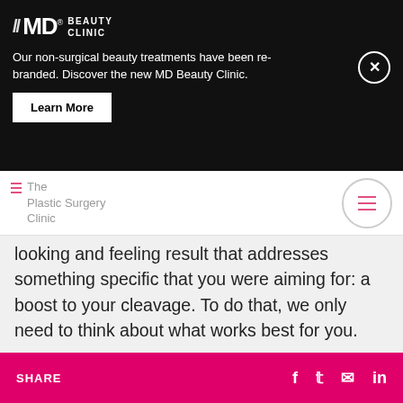[Figure (logo): MD Beauty Clinic logo with double slash and brand name in white on black background]
Our non-surgical beauty treatments have been re-branded. Discover the new MD Beauty Clinic.
Learn More
[Figure (screenshot): The Plastic Surgery Clinic navigation bar with hamburger menu icon]
looking and feeling result that addresses something specific that you were aiming for: a boost to your cleavage. To do that, we only need to think about what works best for you.
→ It's great to be specific and pinpoint what you love in the photo
SHARE  f  𝕏  ✉  in